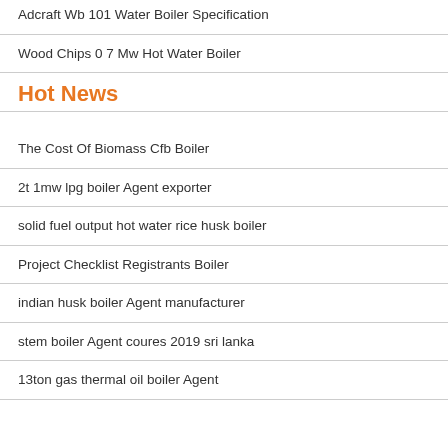Adcraft Wb 101 Water Boiler Specification
Wood Chips 0 7 Mw Hot Water Boiler
Hot News
The Cost Of Biomass Cfb Boiler
2t 1mw lpg boiler Agent exporter
solid fuel output hot water rice husk boiler
Project Checklist Registrants Boiler
indian husk boiler Agent manufacturer
stem boiler Agent coures 2019 sri lanka
13ton gas thermal oil boiler Agent